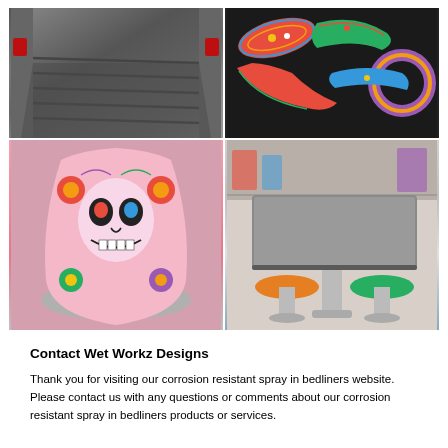[Figure (photo): Truck bed with dark spray-in bedliner coating, view from behind the vehicle]
[Figure (photo): Colorful sugar skull patterned automotive/accessory parts laid out on a dark background]
[Figure (photo): Large vase or container decorated with colorful sugar skull Day of the Dead design on pink background]
[Figure (photo): Gray table with orange and green bar stools in a shop/showroom setting]
Contact Wet Workz Designs
Thank you for visiting our corrosion resistant spray in bedliners website. Please contact us with any questions or comments about our corrosion resistant spray in bedliners products or services.